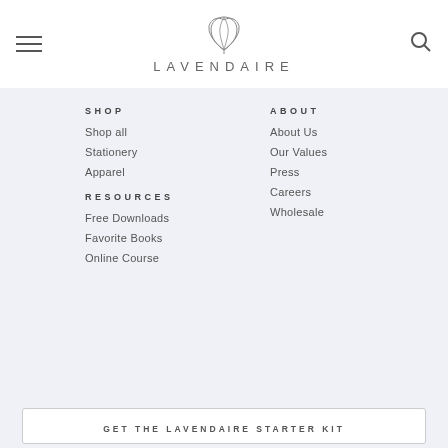LAVENDAIRE
SHOP
Shop all
Stationery
Apparel
RESOURCES
Free Downloads
Favorite Books
Online Course
ABOUT
About Us
Our Values
Press
Careers
Wholesale
GET THE LAVENDAIRE STARTER KIT